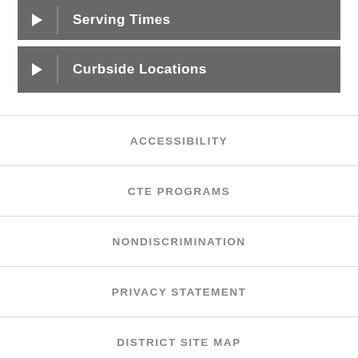Serving Times
Curbside Locations
ACCESSIBILITY
CTE PROGRAMS
NONDISCRIMINATION
PRIVACY STATEMENT
DISTRICT SITE MAP
WEBSITE NAVIGATION